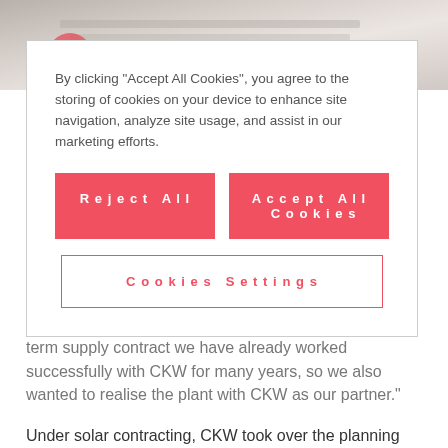[Figure (photo): Background photo of a desk/keyboard area, partially visible behind cookie consent overlay]
By clicking “Accept All Cookies”, you agree to the storing of cookies on your device to enhance site navigation, analyze site usage, and assist in our marketing efforts.
Reject All
Accept All Cookies
Cookies Settings
confectioner and the COO, and has worked for the company for 30 years. “As a bulk customer with a long-term supply contract we have already worked successfully with CKW for many years, so we also wanted to realise the plant with CKW as our partner.”
Under solar contracting, CKW took over the planning for the plant in Root – from tendering to construction,